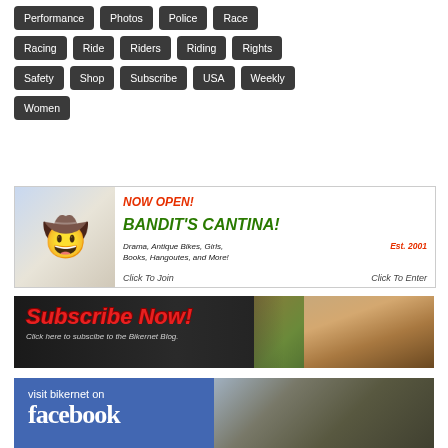Performance
Photos
Police
Race
Racing
Ride
Riders
Riding
Rights
Safety
Shop
Subscribe
USA
Weekly
Women
[Figure (illustration): Bandit's Cantina advertisement banner. NOW OPEN! BANDIT'S CANTINA! Est. 2001. Drama, Antique Bikes, Girls, Books, Hangoutes, and More! Click To Join  Click To Enter. Features cartoon bandit character.]
[Figure (illustration): Subscribe Now! Click here to subscibe to the Bikernet Blog. Red graffiti text on dark background with blonde woman photo.]
[Figure (illustration): Visit bikernet on facebook. Blue Facebook branded banner with motorcycle scene.]